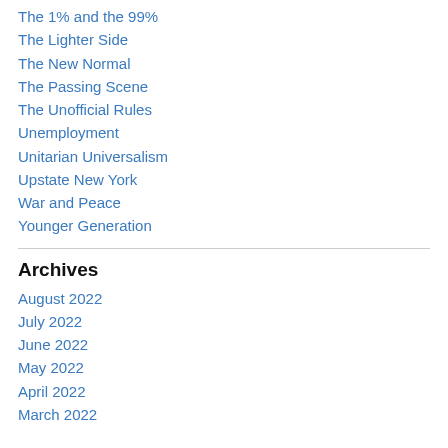The 1% and the 99%
The Lighter Side
The New Normal
The Passing Scene
The Unofficial Rules
Unemployment
Unitarian Universalism
Upstate New York
War and Peace
Younger Generation
Archives
August 2022
July 2022
June 2022
May 2022
April 2022
March 2022